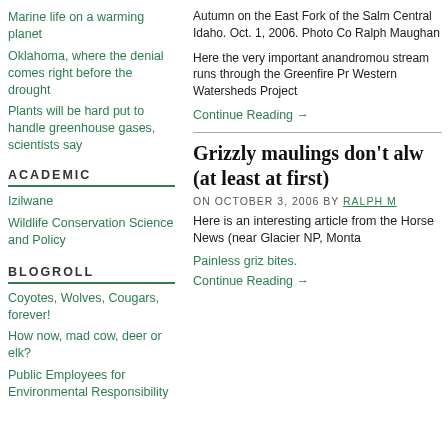Marine life on a warming planet
Oklahoma, where the denial comes right before the drought
Plants will be hard put to handle greenhouse gases, scientists say
ACADEMIC
Izilwane
Wildlife Conservation Science and Policy
BLOGROLL
Coyotes, Wolves, Cougars, forever!
How now, mad cow, deer or elk?
Public Employees for Environmental Responsibility
Autumn on the East Fork of the Salm Central Idaho. Oct. 1, 2006. Photo Co Ralph Maughan
Here the very important anandromou stream runs through the Greenfire Pr Western Watersheds Project
Continue Reading →
Grizzly maulings don't alw (at least at first)
on OCTOBER 3, 2006 by RALPH M
Here is an interesting article from the Horse News (near Glacier NP, Monta
Painless griz bites.
Continue Reading →